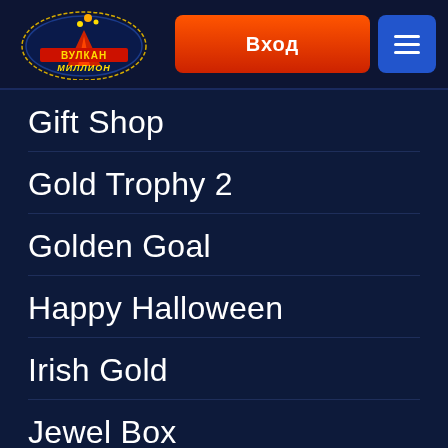[Figure (logo): Vulkan Million casino logo with stylized volcano and text ВУЛКАН МИЛЛИОН]
Вход
Gift Shop
Gold Trophy 2
Golden Goal
Happy Halloween
Irish Gold
Jewel Box
Jolly Roger